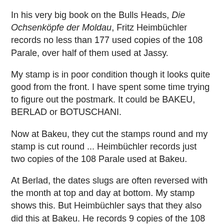In his very big book on the Bulls Heads, Die Ochsenköpfe der Moldau, Fritz Heimbüchler records no less than 177 used copies of the 108 Parale, over half of them used at Jassy.
My stamp is in poor condition though it looks quite good from the front. I have spent some time trying to figure out the postmark. It could be BAKEU, BERLAD or BOTUSCHANI.
Now at Bakeu, they cut the stamps round and my stamp is cut round ... Heimbüchler records just two copies of the 108 Parale used at Bakeu.
At Berlad, the dates slugs are often reversed with the month at top and day at bottom. My stamp shows this. But Heimbüchler says that they also did this at Bakeu. He records 9 copies of the 108 Parale used at Berlad.
He records two copies used at Botuschani. All three offices with names beginning with "B" cancelled in blue ink so this one could have been used there.